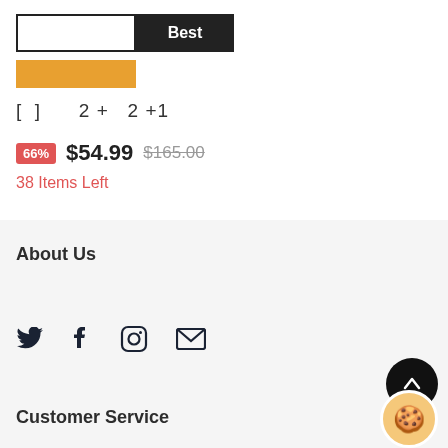[Figure (screenshot): UI buttons: empty white box and black 'Best' button side by side, with an orange bar below]
[  ]   2+  2 +1
66%  $54.99  $165.00
38 Items Left
About Us
[Figure (illustration): Social media icons: Twitter, Facebook, Instagram, Email]
Customer Service